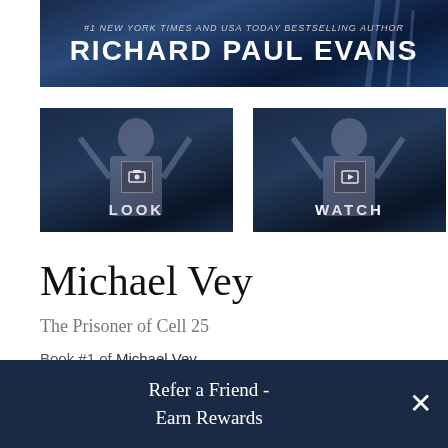[Figure (illustration): Book cover banner showing author name 'Richard Paul Evans' with subtitle '#1 New York Times and USA Today Bestselling Author' on dark blue background]
[Figure (illustration): Dark silhouette thumbnail with image icon and label 'LOOK']
[Figure (illustration): Dark silhouette thumbnail with play icon and label 'WATCH']
Michael Vey
The Prisoner of Cell 25
Book #1 of Michael Vey
By Richard Paul Evans
Refer a Friend - Earn Rewards